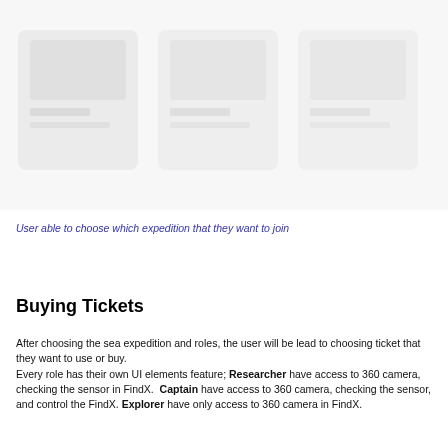[Figure (screenshot): A screenshot of an application screen showing a sea expedition selection UI, partially visible with a light/faded appearance.]
•••
User able to choose which expedition that they want to join
Buying Tickets
After choosing the sea expedition and roles, the user will be lead to choosing ticket that they want to use or buy.
Every role has their own UI elements feature; Researcher have access to 360 camera, checking the sensor in FindX.  Captain have access to 360 camera, checking the sensor, and control the FindX. Explorer have only access to 360 camera in FindX.